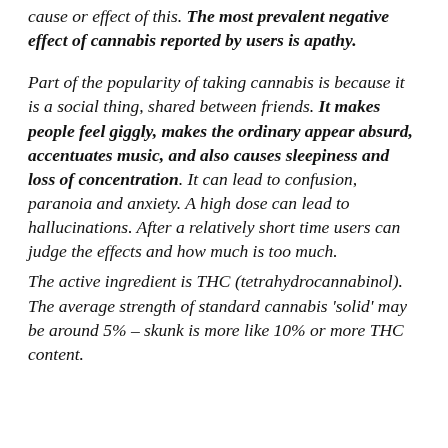cause or effect of this. The most prevalent negative effect of cannabis reported by users is apathy.
Part of the popularity of taking cannabis is because it is a social thing, shared between friends. It makes people feel giggly, makes the ordinary appear absurd, accentuates music, and also causes sleepiness and loss of concentration. It can lead to confusion, paranoia and anxiety. A high dose can lead to hallucinations. After a relatively short time users can judge the effects and how much is too much.
The active ingredient is THC (tetrahydrocannabinol). The average strength of standard cannabis 'solid' may be around 5% – skunk is more like 10% or more THC content.